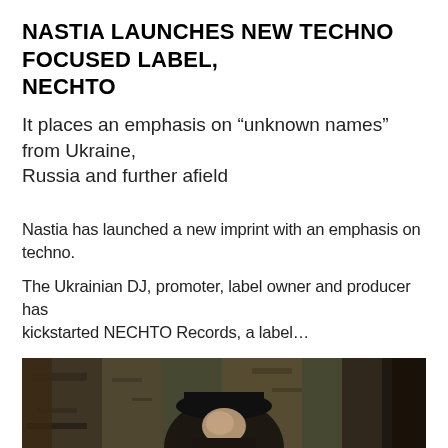NASTIA LAUNCHES NEW TECHNO FOCUSED LABEL, NECHTO
It places an emphasis on “unknown names” from Ukraine, Russia and further afield
Nastia has launched a new imprint with an emphasis on techno.
The Ukrainian DJ, promoter, label owner and producer has kickstarted NECHTO Records, a label…
[Figure (photo): Sepia-toned photograph of a person wearing a dark hat, standing in front of a weathered, textured wall background.]